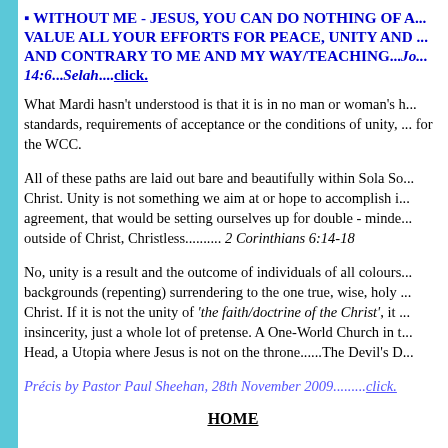▪ WITHOUT ME - JESUS, YOU CAN DO NOTHING OF A... VALUE ALL YOUR EFFORTS FOR PEACE, UNITY AND ... AND CONTRARY TO ME AND MY WAY/TEACHING...Jo... 14:6...Selah....click.
What Mardi hasn't understood is that it is in no man or woman's h... standards, requirements of acceptance or the conditions of unity, ... for the WCC.
All of these paths are laid out bare and beautifully within Sola So... Christ. Unity is not something we aim at or hope to accomplish i... agreement, that would be setting ourselves up for double - minde... outside of Christ, Christless.......... 2 Corinthians 6:14-18
No, unity is a result and the outcome of individuals of all colours... backgrounds (repenting) surrendering to the one true, wise, holy ... Christ. If it is not the unity of 'the faith/doctrine of the Christ', it ... insincerity, just a whole lot of pretense. A One-World Church in t... Head, a Utopia where Jesus is not on the throne......The Devil's D...
Précis by Pastor Paul Sheehan, 28th November 2009.........click.
HOME